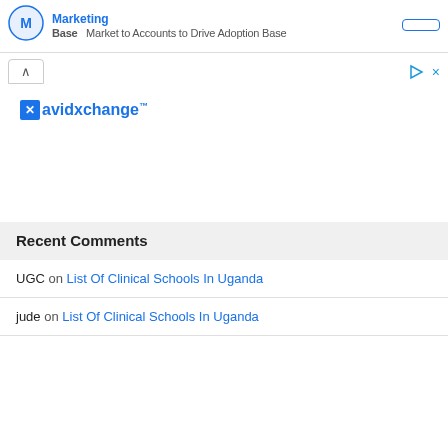[Figure (screenshot): Top banner showing 'Marketing Base' with subtitle 'Market to Accounts to Drive Adoption Base' and a blue outlined button on the right]
[Figure (screenshot): Ad container with collapse (^) button, play and close icons, and AvidXchange logo in blue]
Recent Comments
UGC on List Of Clinical Schools In Uganda
jude on List Of Clinical Schools In Uganda